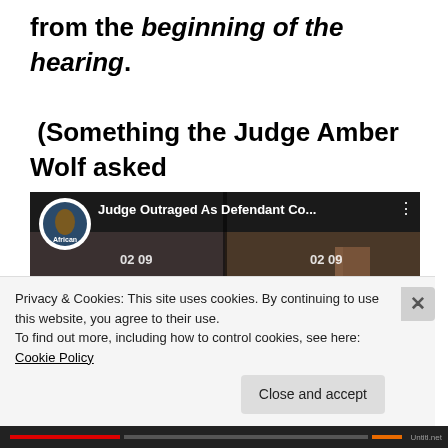from the beginning of the hearing. (Something the Judge Amber Wolf asked the PD herself.)
[Figure (screenshot): YouTube video thumbnail showing a split-screen courtroom footage. Left side shows a courtroom interior, right side shows a woman seated. Video title: 'Judge Outraged As Defendant Co...' Channel: African. Timestamps show 02:09 on both sides. Red YouTube play button overlaid in center.]
Privacy & Cookies: This site uses cookies. By continuing to use this website, you agree to their use.
To find out more, including how to control cookies, see here: Cookie Policy